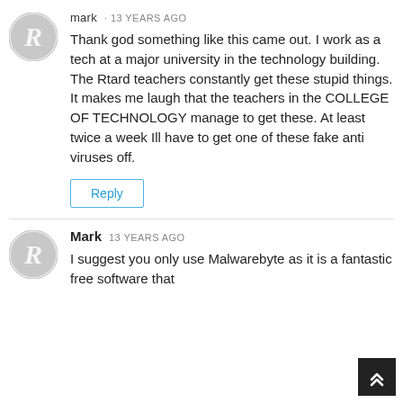[Figure (illustration): Gray circular avatar with stylized letter R logo]
mark · 13 YEARS AGO
Thank god something like this came out. I work as a tech at a major university in the technology building. The Rtard teachers constantly get these stupid things. It makes me laugh that the teachers in the COLLEGE OF TECHNOLOGY manage to get these. At least twice a week Ill have to get one of these fake anti viruses off.
Reply
[Figure (illustration): Gray circular avatar with stylized letter R logo]
Mark · 13 YEARS AGO
I suggest you only use Malwarebyte as it is a fantastic free software that